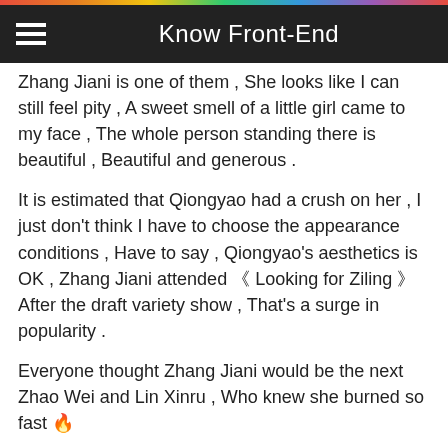Know Front-End
Zhang Jiani is one of them , She looks like I can still feel pity , A sweet smell of a little girl came to my face , The whole person standing there is beautiful , Beautiful and generous .
It is estimated that Qiongyao had a crush on her , I just don't think I have to choose the appearance conditions , Have to say , Qiongyao's aesthetics is OK , Zhang Jiani attended 《 Looking for Ziling 》 After the draft variety show , That's a surge in popularity .
Everyone thought Zhang Jiani would be the next Zhao Wei and Lin Xinru , Who knew she burned so fast 🔥
[Figure (photo): Photo of a woman, appears to be from a drama or promotional image. Chinese text visible on the left side reading 寻找·紫凌. A back-to-top button (dark square with upward chevron) is overlaid in the bottom right corner.]